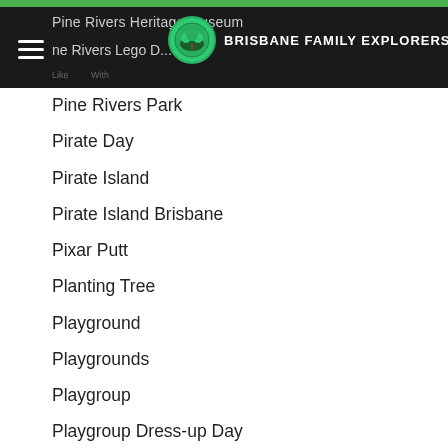Pine Rivers Heritage Museum | Pine Rivers Lego D... | Brisbane Family Explorers
Pine Rivers Park
Pirate Day
Pirate Island
Pirate Island Brisbane
Pixar Putt
Planting Tree
Playground
Playgrounds
Playgroup
Playgroup Dress-up Day
Playgroup Queensland
Playgroup Week
Playschool
Play School
Play School 50
Playschool 50
Playschool Live In Concert